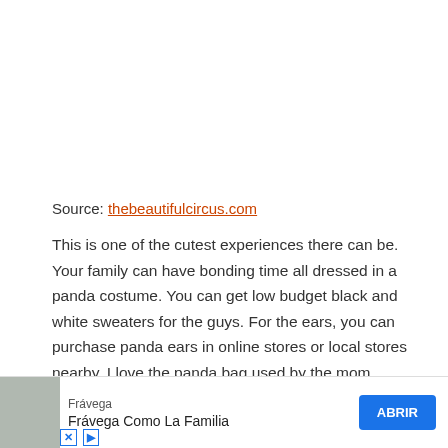Source: thebeautifulcircus.com
This is one of the cutest experiences there can be. Your family can have bonding time all dressed in a panda costume. You can get low budget black and white sweaters for the guys. For the ears, you can purchase panda ears in online stores or local stores nearby. I love the panda bag used by the mom.
18. 10-MInute Panda Costume DIY